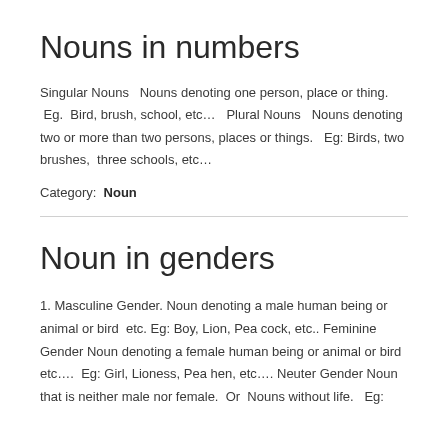Nouns in numbers
Singular Nouns   Nouns denoting one person, place or thing.  Eg.  Bird, brush, school, etc…   Plural Nouns   Nouns denoting two or more than two persons, places or things.   Eg: Birds, two brushes,  three schools, etc…
Category:  Noun
Noun in genders
1. Masculine Gender. Noun denoting a male human being or animal or bird  etc. Eg: Boy, Lion, Pea cock, etc.. Feminine Gender Noun denoting a female human being or animal or bird etc….  Eg: Girl, Lioness, Pea hen, etc…. Neuter Gender Noun that is neither male nor female.  Or  Nouns without life.   Eg: